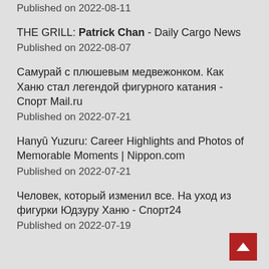Published on 2022-08-11
THE GRILL: Patrick Chan - Daily Cargo News
Published on 2022-08-07
Самурай с плюшевым медвежонком. Как Ханю стал легендой фигурного катания - Спорт Mail.ru
Published on 2022-07-21
Hanyū Yuzuru: Career Highlights and Photos of Memorable Moments | Nippon.com
Published on 2022-07-21
Человек, который изменил все. На уход из фигурки Юдзуру Ханю - Спорт24
Published on 2022-07-19